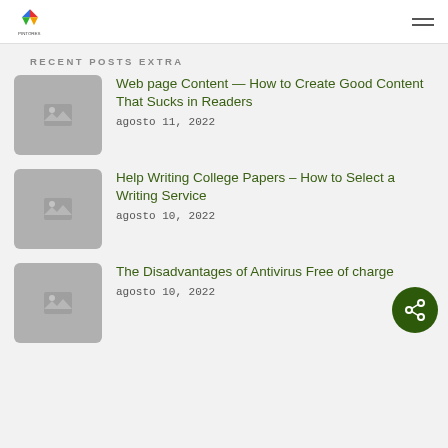PINTORES logo and navigation menu
RECENT POSTS EXTRA
Web page Content — How to Create Good Content That Sucks in Readers
agosto 11, 2022
Help Writing College Papers – How to Select a Writing Service
agosto 10, 2022
The Disadvantages of Antivirus Free of charge
agosto 10, 2022